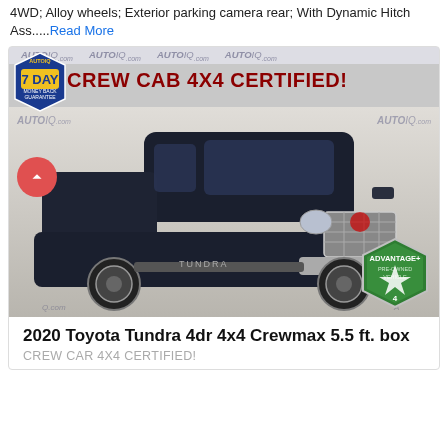4WD; Alloy wheels; Exterior parking camera rear; With Dynamic Hitch Ass.....Read More
[Figure (photo): Photo of a dark blue/black 2020 Toyota Tundra Crewmax 4x4 truck in a dealer lot with AutoIQ.com watermarks, a 7-Day Money Back Guarantee badge in top left, CREW CAB 4X4 CERTIFIED! text overlay in dark red, and an Advantage+ Pre-Owned Vehicle badge in lower right corner.]
2020 Toyota Tundra 4dr 4x4 Crewmax 5.5 ft. box
CREW CAR 4X4 CERTIFIED!